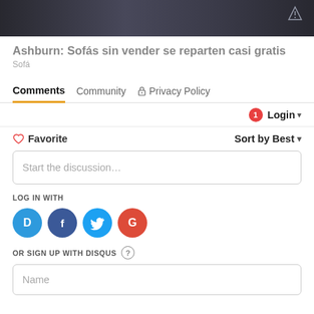[Figure (photo): Dark gray sofa/couch photo strip at top of page]
Ashburn: Sofás sin vender se reparten casi gratis
Sofá
Comments  Community  🔒 Privacy Policy
🔔1  Login ▾
♡ Favorite    Sort by Best ▾
Start the discussion...
LOG IN WITH
[Figure (logo): Social login icons: Disqus (D), Facebook (F), Twitter bird, Google (G)]
OR SIGN UP WITH DISQUS ?
Name